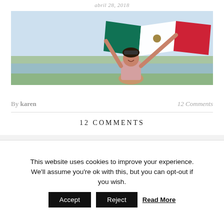abril 28, 2018
[Figure (photo): A woman holding a large Mexican flag outdoors near a river with trees and a clear sky in the background. She is smiling and wearing athletic clothing.]
By karen       12 Comments
12 COMMENTS
This website uses cookies to improve your experience. We'll assume you're ok with this, but you can opt-out if you wish. Accept Reject Read More